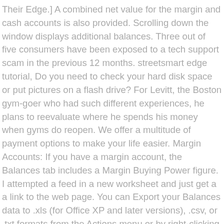Their Edge.] A combined net value for the margin and cash accounts is also provided. Scrolling down the window displays additional balances. Three out of five consumers have been exposed to a tech support scam in the previous 12 months. streetsmart edge tutorial, Do you need to check your hard disk space or put pictures on a flash drive? For Levitt, the Boston gym-goer who had such different experiences, he plans to reevaluate where he spends his money when gyms do reopen. We offer a multitude of payment options to make your life easier. Margin Accounts: If you have a margin account, the Balances tab includes a Margin Buying Power figure. I attempted a feed in a new worksheet and just get a a link to the web page. You can Export your Balances data to .xls (for Office XP and later versions), .csv, or .txt formats from the Actions menu or by right-clicking within the Balances display. The total marked-to-market value of your short positions (broken out by marginable and non-marginable securities) based on the last trade price. Adding on to that, professionals and intellects cannot work without cutting-edge.